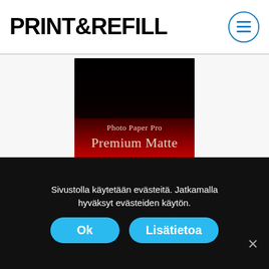PRINT&REFILL
[Figure (photo): Product photo of Canon Photo Paper Pro Premium Matte packaging on a dark gradient background with red and black tones. Text on box reads 'Photo Paper Pro Premium Matte' and small text 'Photo Paper Pro Premium Matte PM-101'.]
Sivustolla käytetään evästeitä. Jatkamalla hyväksyt evästeiden käytön.
Ok
Lisätietoa